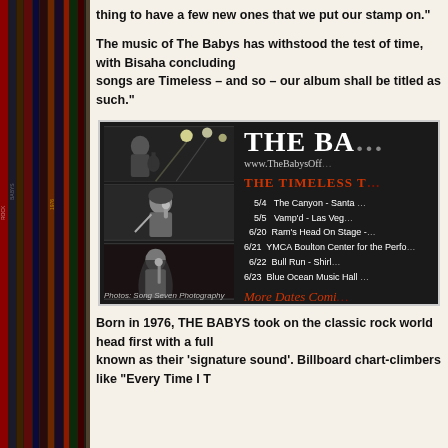thing to have a few new ones that we put our stamp on."
The music of The Babys has withstood the test of time, with Bisaha concluding songs are Timeless – and so – our album shall be titled as such."
[Figure (photo): Promotional flyer for The Babys 'The Timeless Tour'. Left side shows three black and white performance photos. Right side shows band name 'THE BA...' in large white text, website www.TheBabysOff..., tour title 'THE TIMELESS T...' in red, and tour dates: 5/4 The Canyon - Santa ..., 5/5 Vamp'd - Las Veg..., 6/20 Ram's Head On Stage - ..., 6/21 YMCA Boulton Center for the Perfo..., 6/22 Bull Run - Shirl..., 6/23 Blue Ocean Music Hall ..., More Dates Comi... Photos: Song Seven Photography]
Born in 1976, THE BABYS took on the classic rock world head first with a full known as their 'signature sound'. Billboard chart-climbers like "Every Time I T...